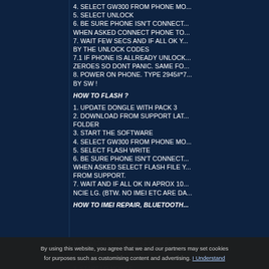4. SELECT GW300 FROM PHONE MO...
5. SELECT UNLOCK
6. BE SURE PHONE ISN'T CONNECT... WHEN ASKED CONNECT PHONE TO...
7. WAIT FEW SECS AND IF ALL OK Y... BY THE UNLOCK CODES
7.1 IF PHONE IS ALLREADY UNLOCK... ZEROES SO DONT PANIC. SAME FO...
8. POWER ON PHONE. TYPE 2945#*7... BY SW !
HOW TO FLASH ?
1. UPDATE DONGLE WITH PACK 3
2. DOWNLOAD FROM SUPPORT LAT... FOLDER
3. START THE SOFTWARE
4. SELECT GW300 FROM PHONE MO...
5. SELECT FLASH WRITE
6. BE SURE PHONE ISN'T CONNECT... WHEN ASKED SELECT FLASH FILE Y... FROM SUPPORT.
7. WAIT AND IF ALL OK IN APROX 10... NCIE LG. (BTW. NO IMEI ETC ARE DA...
HOW TO IMEI REPAIR, BLUETOOTH...
1. POWER ON PHONE. SET WRIT...
2. CONENCT USB CABLE TO PHONE
... SYNC
3. START LG MOBILE...
By using this website, you agree that we and our partners may set cookies for purposes such as customising content and advertising. I Understand